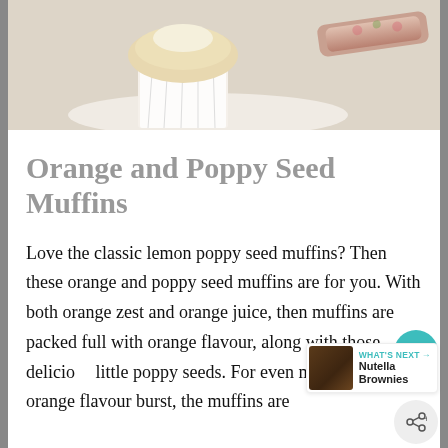[Figure (photo): Photo of orange and poppy seed muffins with a decorative rolling pin, viewed from above on a white surface]
Orange and Poppy Seed Muffins
Love the classic lemon poppy seed muffins? Then these orange and poppy seed muffins are for you. With both orange zest and orange juice, then muffins are packed full with orange flavour, along with those delicious little poppy seeds. For even more of an orange flavour burst, the muffins are